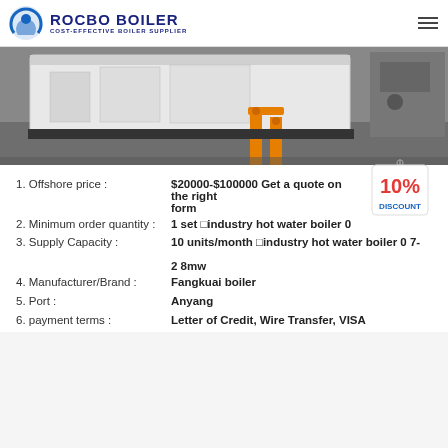ROCBO BOILER - COST-EFFECTIVE BOILER SUPPLIER
[Figure (photo): Photo of an industrial hot water boiler unit on a factory floor with orange pipes]
1. Offshore price : $20000-$100000 Get a quote on the right form
2. Minimum order quantity : 1 set industry hot water boiler 0
3. Supply Capacity : 10 units/month industry hot water boiler 0 7-2 8mw
4. Manufacturer/Brand : Fangkuai boiler
5. Port : Anyang
6. payment terms : Letter of Credit, Wire Transfer, VISA